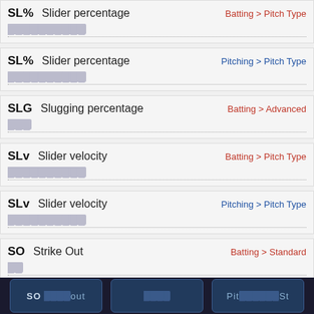SL% - Slider percentage - Batting > Pitch Type
SL% - Slider percentage - Pitching > Pitch Type
SLG - Slugging percentage - Batting > Advanced
SLv - Slider velocity - Batting > Pitch Type
SLv - Slider velocity - Pitching > Pitch Type
SO - Strike Out - Batting > Standard
SO [redacted] out | [redacted] | Pitching [redacted] Standard